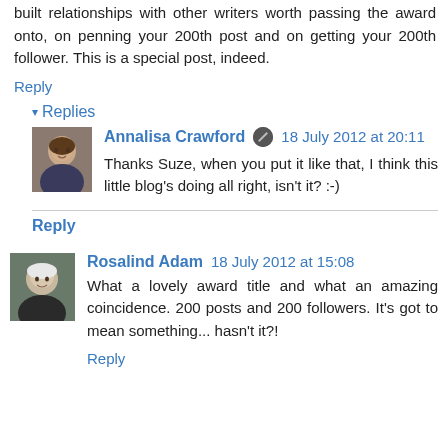built relationships with other writers worth passing the award onto, on penning your 200th post and on getting your 200th follower. This is a special post, indeed.
Reply
▾ Replies
Annalisa Crawford  18 July 2012 at 20:11
Thanks Suze, when you put it like that, I think this little blog's doing all right, isn't it? :-)
Reply
Rosalind Adam  18 July 2012 at 15:08
What a lovely award title and what an amazing coincidence. 200 posts and 200 followers. It's got to mean something... hasn't it?!
Reply